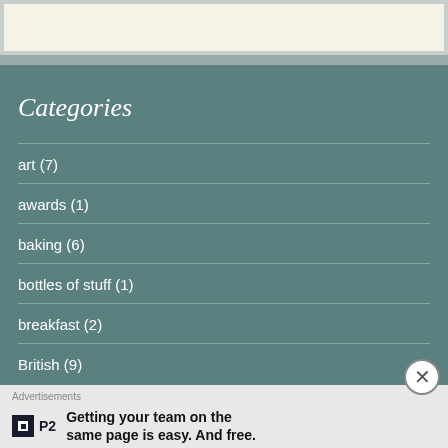Categories
art (7)
awards (1)
baking (6)
bottles of stuff (1)
breakfast (2)
British (9)
Advertisements
Getting your team on the same page is easy. And free.